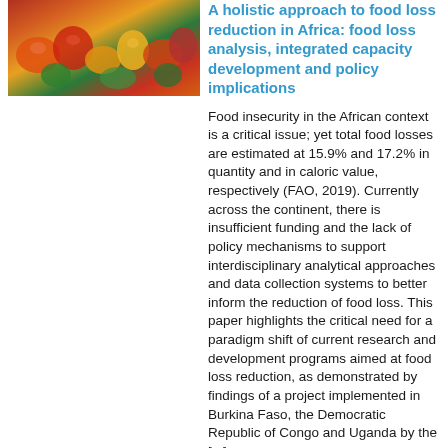[Figure (photo): Photograph of various fruits and vegetables in warm tones of red, orange, yellow and green.]
A holistic approach to food loss reduction in Africa: food loss analysis, integrated capacity development and policy implications
Food insecurity in the African context is a critical issue; yet total food losses are estimated at 15.9% and 17.2% in quantity and in caloric value, respectively (FAO, 2019). Currently across the continent, there is insufficient funding and the lack of policy mechanisms to support interdisciplinary analytical approaches and data collection systems to better inform the reduction of food loss. This paper highlights the critical need for a paradigm shift of current research and development programs aimed at food loss reduction, as demonstrated by findings of a project implemented in Burkina Faso, the Democratic Republic of Congo and Uganda by the [...]